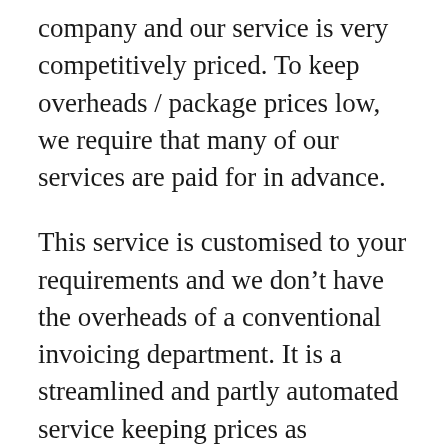company and our service is very competitively priced. To keep overheads / package prices low, we require that many of our services are paid for in advance.
This service is customised to your requirements and we don't have the overheads of a conventional invoicing department. It is a streamlined and partly automated service keeping prices as competitive as possible.
Your invoice is delivered automatically upon payment.